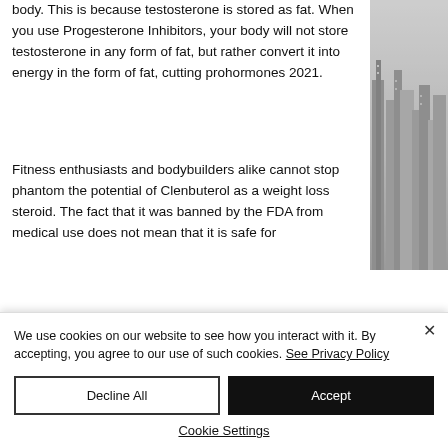body. This is because testosterone is stored as fat. When you use Progesterone Inhibitors, your body will not store testosterone in any form of fat, but rather convert it into energy in the form of fat, cutting prohormones 2021.
Fitness enthusiasts and bodybuilders alike cannot stop phantom the potential of Clenbuterol as a weight loss steroid. The fact that it was banned by the FDA from medical use does not mean that it is safe for
[Figure (photo): Grayscale photo of city skyline with tall buildings]
We use cookies on our website to see how you interact with it. By accepting, you agree to our use of such cookies. See Privacy Policy
Decline All
Accept
Cookie Settings